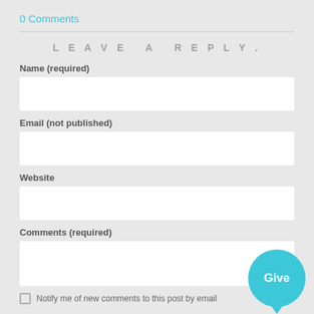0 Comments
LEAVE A REPLY.
Name (required)
Email (not published)
Website
Comments (required)
Notify me of new comments to this post by email
[Figure (illustration): Cyan circular speech bubble button with white text 'Give']